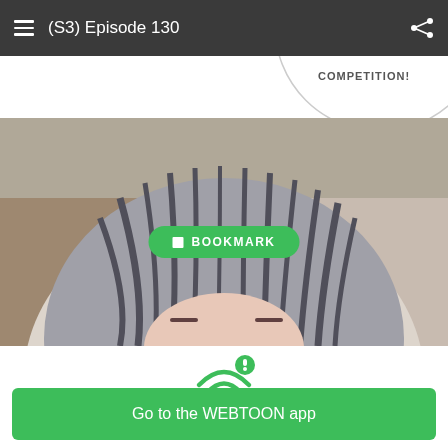(S3) Episode 130
[Figure (illustration): Webtoon comic panel showing a speech bubble with 'COMPETITION!' text at top, and a manga-style character with gray hair below, partially visible face]
BOOKMARK
[Figure (infographic): WiFi signal icon with exclamation mark warning indicator in green]
Having trouble with slow networks?
Download stories on your phone and read offline!
Go to the WEBTOON app